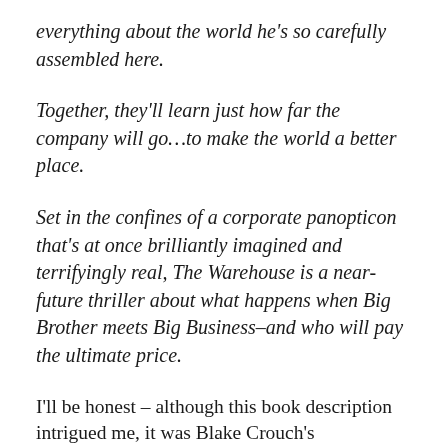everything about the world he's so carefully assembled here.
Together, they'll learn just how far the company will go…to make the world a better place.
Set in the confines of a corporate panopticon that's at once brilliantly imagined and terrifyingly real, The Warehouse is a near-future thriller about what happens when Big Brother meets Big Business–and who will pay the ultimate price.
I'll be honest – although this book description intrigued me, it was Blake Crouch's recommendation that made me want to read this novel.  After finishing,